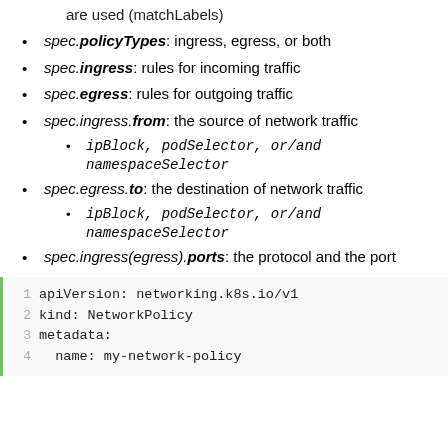are used (matchLabels)
spec.policyTypes: ingress, egress, or both
spec.ingress: rules for incoming traffic
spec.egress: rules for outgoing traffic
spec.ingress.from: the source of network traffic
ipBlock, podSelector, or/and namespaceSelector
spec.egress.to: the destination of network traffic
ipBlock, podSelector, or/and namespaceSelector
spec.ingress(egress).ports: the protocol and the port
apiVersion: networking.k8s.io/v1
kind: NetworkPolicy
metadata:
  name: my-network-policy